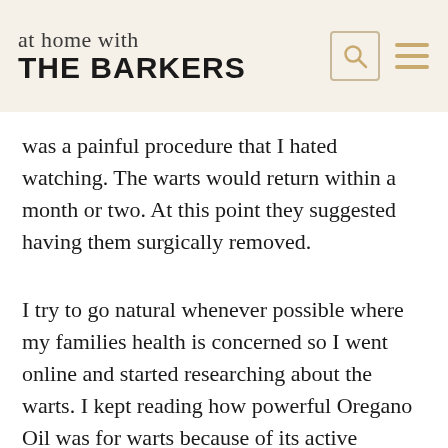at home with THE BARKERS
was a painful procedure that I hated watching. The warts would return within a month or two. At this point they suggested having them surgically removed.
I try to go natural whenever possible where my families health is concerned so I went online and started researching about the warts. I kept reading how powerful Oregano Oil was for warts because of its active
ingredient carvacrol, and the amazing wide range of health benefits that it offers to kill